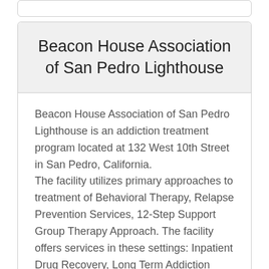Beacon House Association of San Pedro Lighthouse
Beacon House Association of San Pedro Lighthouse is an addiction treatment program located at 132 West 10th Street in San Pedro, California.
The facility utilizes primary approaches to treatment of Behavioral Therapy, Relapse Prevention Services, 12-Step Support Group Therapy Approach. The facility offers services in these settings: Inpatient Drug Recovery, Long Term Addiction Recovery.